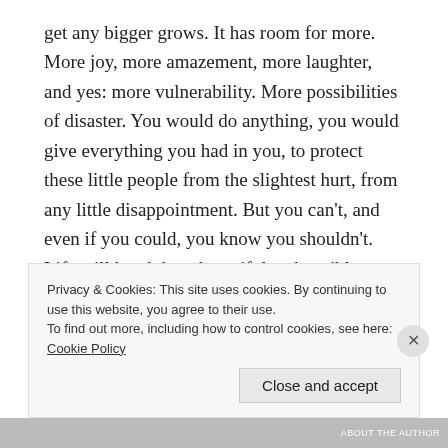get any bigger grows. It has room for more. More joy, more amazement, more laughter, and yes: more vulnerability. More possibilities of disaster. You would do anything, you would give everything you had in you, to protect these little people from the slightest hurt, from any little disappointment. But you can't, and even if you could, you know you shouldn't. Life will hand them beautiful and terrible things, so you try to prepare them for both.
Privacy & Cookies: This site uses cookies. By continuing to use this website, you agree to their use.
To find out more, including how to control cookies, see here: Cookie Policy
Close and accept